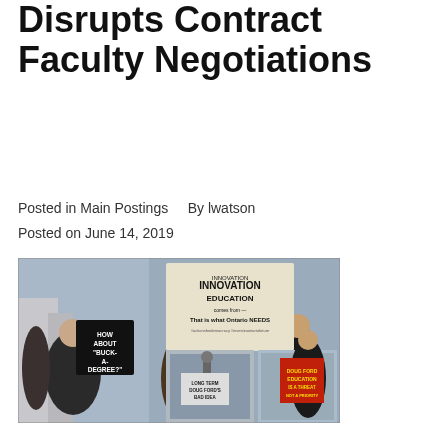Disrupts Contract Faculty Negotiations
Posted in Main Postings   By lwatson
Posted on June 14, 2019
[Figure (photo): Composite photograph of protesters at a rally holding signs including 'HOW ABOUT BUCK-A-DEGREE?', 'INNOVATION EDUCATION comes from... That is what Ontario NEEDS', and other protest signs against education cuts, outdoor winter setting.]